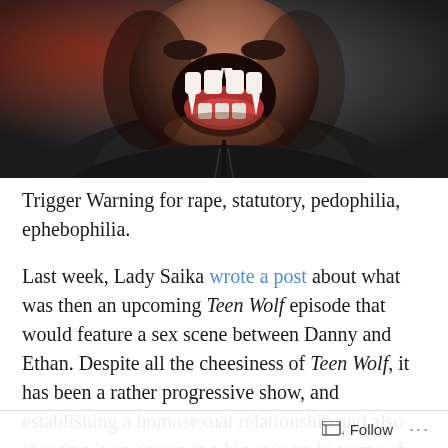[Figure (photo): Close-up photo of a man with his mouth wide open showing vampire-like fangs, wearing a dark leather jacket, dramatic dark lighting with reddish tones]
Trigger Warning for rape, statutory, pedophilia, ephebophilia.
Last week, Lady Saika wrote a post about what was then an upcoming Teen Wolf episode that would feature a sex scene between Danny and Ethan. Despite all the cheesiness of Teen Wolf, it has been a rather progressive show, and establishing a homosexual relationship and also showing it on screen is a big step up in terms of
Follow ···